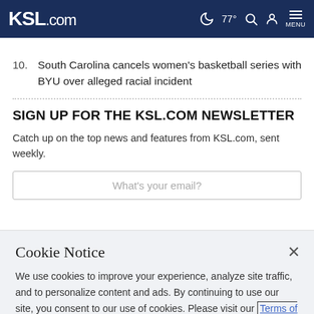KSL.com  77°  MENU
10. South Carolina cancels women's basketball series with BYU over alleged racial incident
SIGN UP FOR THE KSL.COM NEWSLETTER
Catch up on the top news and features from KSL.com, sent weekly.
What's your email?
Cookie Notice
We use cookies to improve your experience, analyze site traffic, and to personalize content and ads. By continuing to use our site, you consent to our use of cookies. Please visit our Terms of Use and Privacy Policy for more information.
Continue